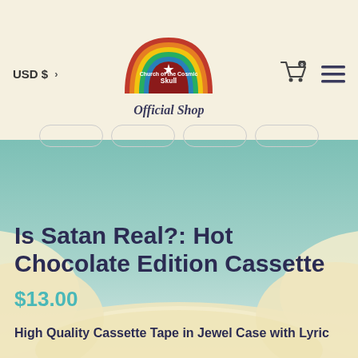USD $ Church of the Cosmic Skull Official Shop
[Figure (logo): Church of the Cosmic Skull Official Shop logo — rainbow arch with red, orange, yellow, green stripes over a dark red semicircle, white star in center, white text reading Church of the Cosmic Skull]
[Figure (illustration): Sky background with teal/blue gradient and soft cream-colored clouds at the bottom and sides]
Is Satan Real?: Hot Chocolate Edition Cassette
$13.00
High Quality Cassette Tape in Jewel Case with Lyric